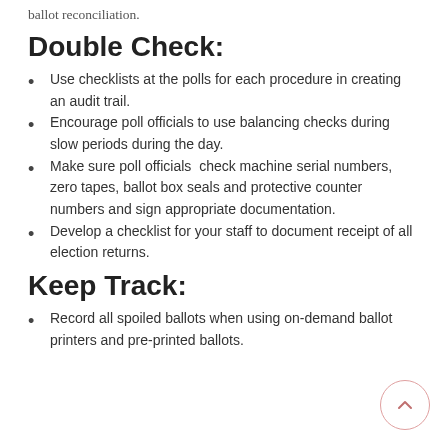ballot reconciliation.
Double Check:
Use checklists at the polls for each procedure in creating an audit trail.
Encourage poll officials to use balancing checks during slow periods during the day.
Make sure poll officials check machine serial numbers, zero tapes, ballot box seals and protective counter numbers and sign appropriate documentation.
Develop a checklist for your staff to document receipt of all election returns.
Keep Track:
Record all spoiled ballots when using on-demand ballot printers and pre-printed ballots.